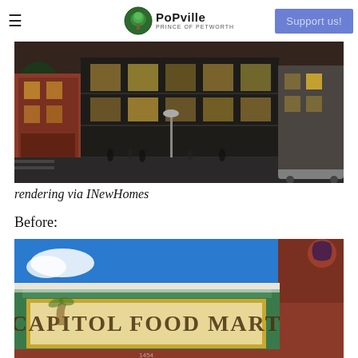≡  PoPville  Support us!
[Figure (photo): Architectural rendering of a mixed-use building with retail on ground floor and residential above, busy street scene at dusk via INewHomes]
rendering via INewHomes
Before:
[Figure (photo): Photo of Capitol Food Mart storefront with green and gold signage, brick building facade]